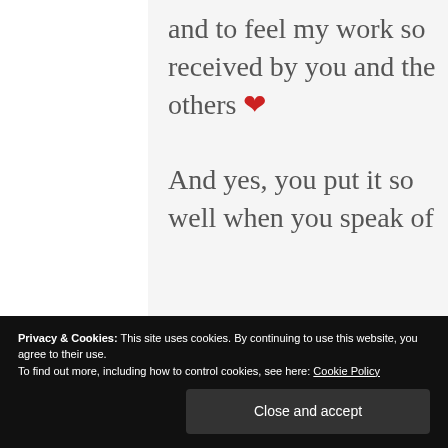and to feel my work so received by you and the others ❤ And yes, you put it so well when you speak of
Privacy & Cookies: This site uses cookies. By continuing to use this website, you agree to their use. To find out more, including how to control cookies, see here: Cookie Policy